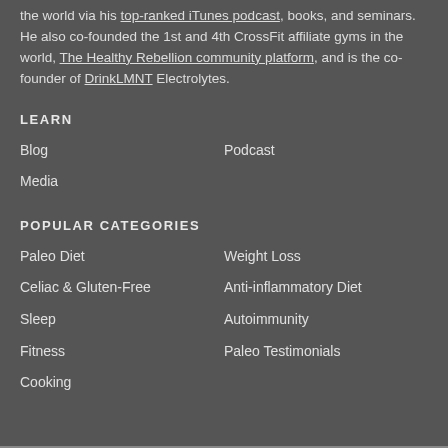the world via his top-ranked iTunes podcast, books, and seminars. He also co-founded the 1st and 4th CrossFit affiliate gyms in the world, The Healthy Rebellion community platform, and is the co-founder of DrinkLMNT Electrolytes.
LEARN
Blog
Podcast
Media
POPULAR CATEGORIES
Paleo Diet
Weight Loss
Celiac & Gluten-Free
Anti-inflammatory Diet
Sleep
Autoimmunity
Fitness
Paleo Testimonials
Cooking